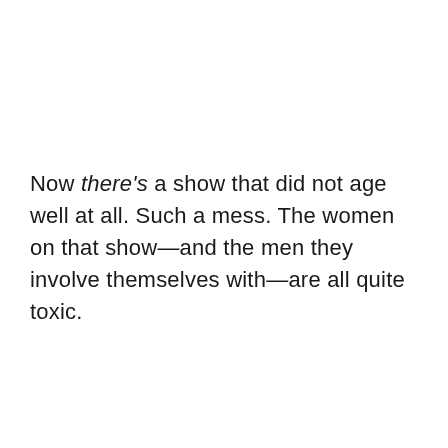Now there's a show that did not age well at all. Such a mess. The women on that show—and the men they involve themselves with—are all quite toxic.